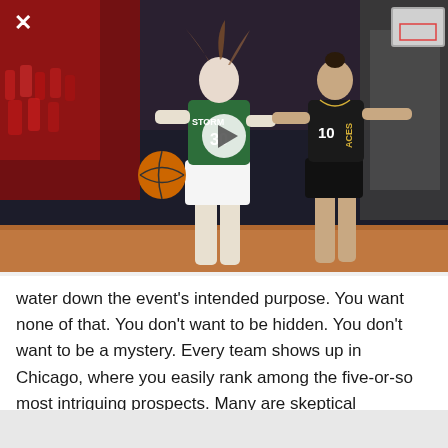[Figure (photo): WNBA basketball game action photo showing a Seattle Storm player (#30) in green uniform driving with the ball while a Las Vegas Aces player (#10) in black uniform defends. Arena crowd visible in background.]
water down the event's intended purpose. You want none of that. You don't want to be hidden. You don't want to be a mystery. Every team shows up in Chicago, where you easily rank among the five-or-so most intriguing prospects. Many are skeptical